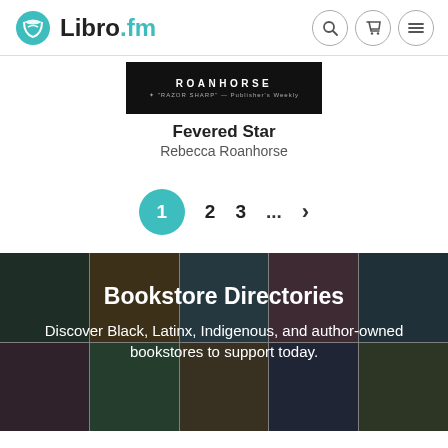Libro.fm
[Figure (screenshot): Book cover for Fevered Star by Rebecca Roanhorse showing dark cover with ROANHORSE text]
Fevered Star
Rebecca Roanhorse
1  2  3  ...  >
[Figure (photo): Collage of bookstore photos showing diverse people in bookstores]
Bookstore Directories
Discover Black, Latinx, Indigenous, and author-owned bookstores to support today.